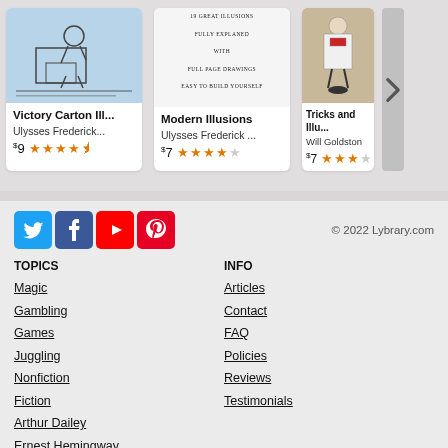[Figure (other): Book card: Victory Carton Ill... by Ulysses Frederick..., $9, 3.5 stars]
[Figure (other): Book card: Modern Illusions by Ulysses Frederick ..., $7, 3.5 stars]
[Figure (other): Book card (partial): Tricks and Illu... by Will Goldston, $7, 3.5 stars]
[Figure (other): Social media icons: Twitter, Facebook, YouTube, Pinterest]
© 2022 Lybrary.com
TOPICS
INFO
Magic
Articles
Gambling
Contact
Games
FAQ
Juggling
Policies
Nonfiction
Reviews
Fiction
Testimonials
Arthur Dailey
Ernest Hemingway